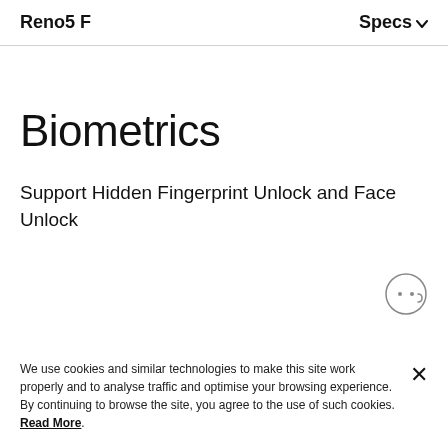Reno5 F   Specs
Biometrics
Support Hidden Fingerprint Unlock and Face Unlock
[Figure (illustration): Chatbot/assistant face icon with two dots for eyes inside a circle]
We use cookies and similar technologies to make this site work properly and to analyse traffic and optimise your browsing experience. By continuing to browse the site, you agree to the use of such cookies. Read More.
Sensors